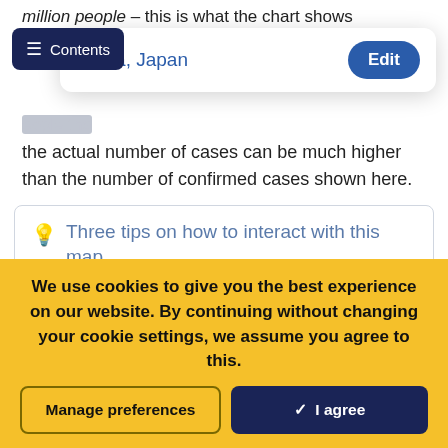million people – this is what the chart shows
the actual number of cases can be much higher than the number of confirmed cases shown here.
Three tips on how to interact with this map
By clicking on any country on the map you see the change over time in this country.
By moving the time slider (below the map) you can see how the global situation has changed over time.
We use cookies to give you the best experience on our website. By continuing without changing your cookie settings, we assume you agree to this.